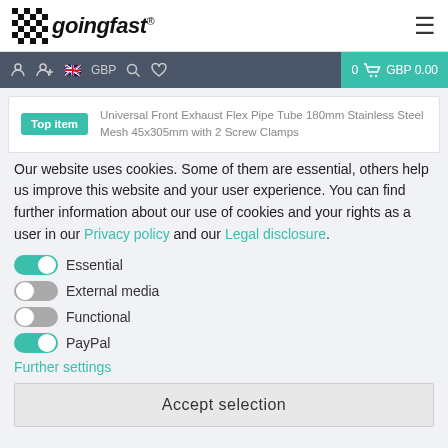goingfast® logo and hamburger menu
[Figure (screenshot): Navigation bar with account icons, UK flag, GBP currency, search, wishlist, and teal cart area showing GBP 0.00]
Top item — Universal Front Exhaust Flex Pipe Tube 180mm Stainless Steel Mesh 45x305mm with 2 Screw Clamps
Our website uses cookies. Some of them are essential, others help us improve this website and your user experience. You can find further information about our use of cookies and your rights as a user in our Privacy policy and our Legal disclosure.
Essential (toggle on)
External media (toggle off)
Functional (toggle off)
PayPal (toggle on)
Further settings
Accept selection